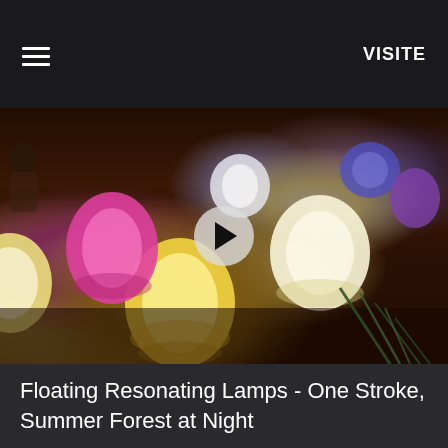VISITE
[Figure (photo): Colorful glowing floating lamps on dark water surface at night. Multiple illuminated lanterns in yellow, white, pink/magenta, blue, and purple colors. A circular play button overlay in the center indicates this is a video thumbnail. Green grass/reeds visible in lower right corner.]
Floating Resonating Lamps - One Stroke, Summer Forest at Night